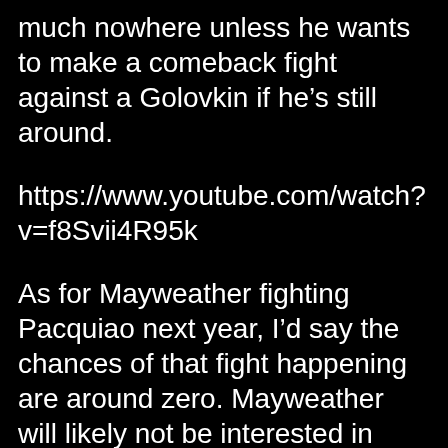opportunities for big money fights will be pretty much nowhere unless he wants to make a comeback fight against a Golovkin if he's still around.
https://www.youtube.com/watch?v=f8Svii4R95k
As for Mayweather fighting Pacquiao next year, I'd say the chances of that fight happening are around zero. Mayweather will likely not be interested in coming back for another Pacquiao fight despite the huge money that he can make. I suspect Mayweather will eventually regret not making a return to fight Pacquiao in five years from